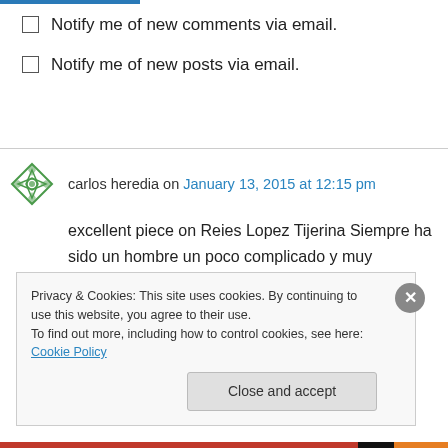Notify me of new comments via email.
Notify me of new posts via email.
carlos heredia on January 13, 2015 at 12:15 pm
excellent piece on Reies Lopez Tijerina Siempre ha sido un hombre un poco complicado y muy apasionado. I met him on one of this visits to Chicago and have been following his work.
Privacy & Cookies: This site uses cookies. By continuing to use this website, you agree to their use. To find out more, including how to control cookies, see here: Cookie Policy